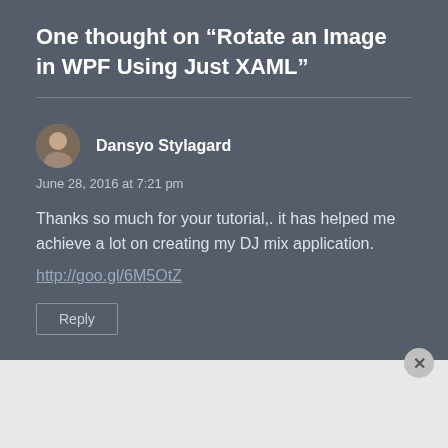One thought on “Rotate an Image in WPF Using Just XAML”
Dansyo Stylagard
June 28, 2016 at 7:21 pm
Thanks so much for your tutorial,. it has helped me achieve a lot on creating my DJ mix application.
http://goo.gl/6M5OtZ
Reply
[Figure (photo): Bloomingdale's advertisement banner with woman in hat, 'View Today's Top Deals!' and 'SHOP NOW >' button]